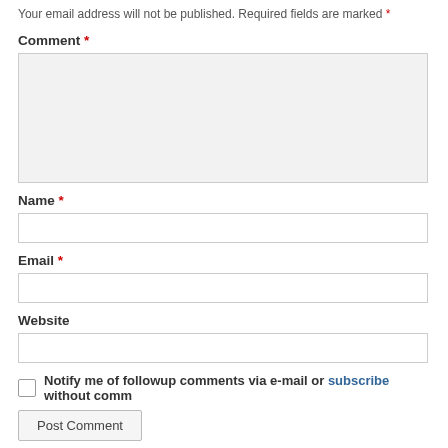Your email address will not be published. Required fields are marked *
Comment *
Name *
Email *
Website
Notify me of followup comments via e-mail or subscribe without comm
Post Comment